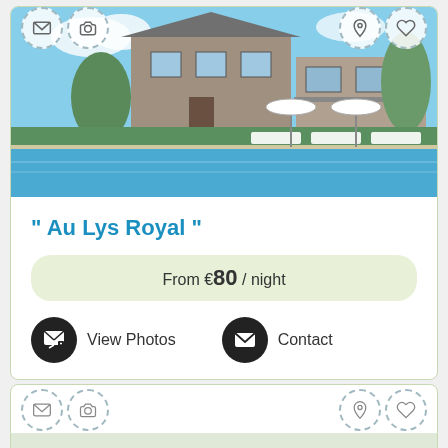[Figure (photo): Hotel/B&B property photo showing stone building with swimming pool in foreground, outdoor lounge chairs, and garden]
" Au Lys Royal "
From €80 / night
View Photos  Contact